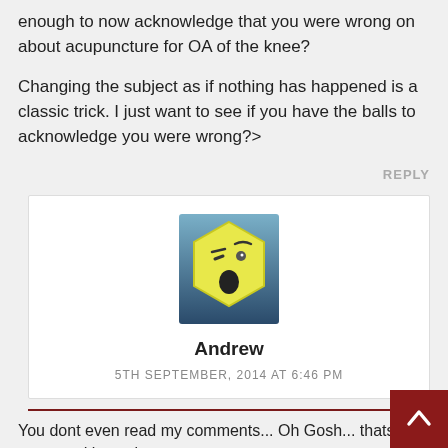enough to now acknowledge that you were wrong on about acupuncture for OA of the knee?
Changing the subject as if nothing has happened is a classic trick. I just want to see if you have the balls to acknowledge you were wrong?>
REPLY
[Figure (illustration): Avatar icon showing a yellow hexagon shape with a surprised face (one eye closed, one eye open, open mouth with black dot), on a blue-grey gradient background]
Andrew
5TH SEPTEMBER, 2014 AT 6:46 PM
You dont even read my comments... Oh Gosh... thats answered in my last comment.